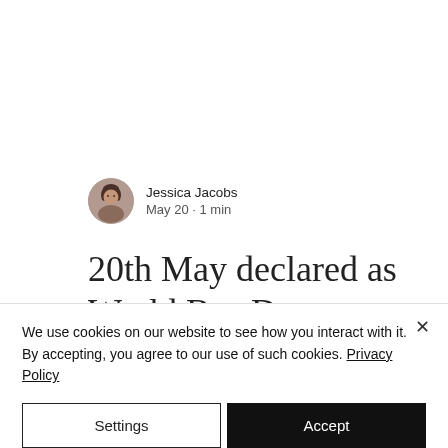[Figure (photo): Circular avatar photo of Jessica Jacobs, a woman with dark hair]
Jessica Jacobs
May 20 · 1 min
20th May declared as World Bee Day
We use cookies on our website to see how you interact with it. By accepting, you agree to our use of such cookies. Privacy Policy
Settings
Accept